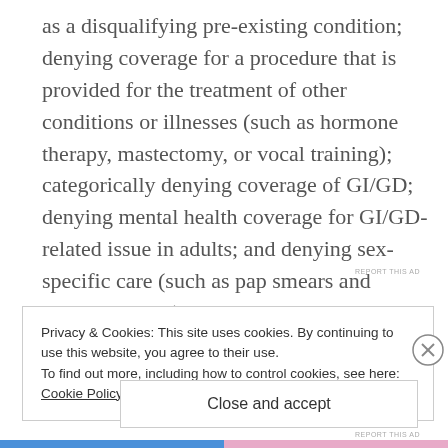as a disqualifying pre-existing condition; denying coverage for a procedure that is provided for the treatment of other conditions or illnesses (such as hormone therapy, mastectomy, or vocal training); categorically denying coverage of GI/GD; denying mental health coverage for GI/GD-related issue in adults; and denying sex-specific care (such as pap smears and prostate exams).
Privacy & Cookies: This site uses cookies. By continuing to use this website, you agree to their use. To find out more, including how to control cookies, see here: Cookie Policy
Close and accept